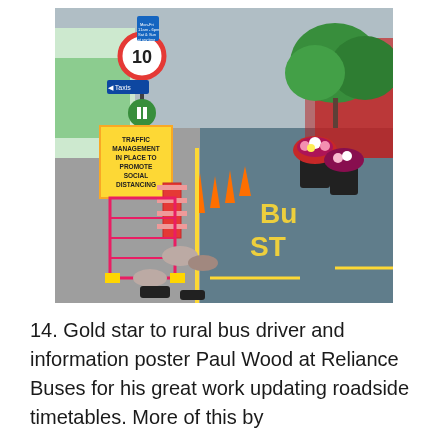[Figure (photo): Street scene showing traffic management measures with orange barriers and cones separating a pedestrian area from a bus stop lane. A yellow sign reads 'TRAFFIC MANAGEMENT IN PLACE TO PROMOTE SOCIAL DISTANCING'. A 10mph speed limit sign is visible, along with a Taxis sign, blue disabled parking sign, and flower planters on the right side of the street. Yellow lines are painted on the road surface. Trees and shops are visible in the background.]
14. Gold star to rural bus driver and information poster Paul Wood at Reliance Buses for his great work updating roadside timetables. More of this by